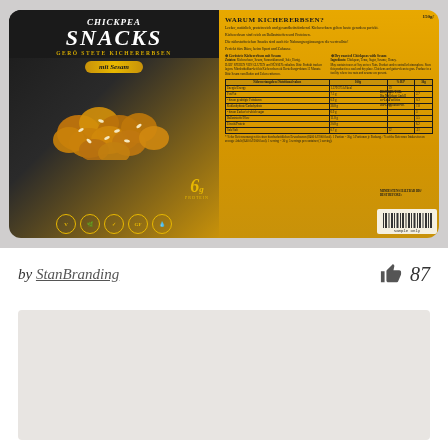[Figure (photo): Product packaging photo showing front and back of Chickpea Snacks 'Gerüstete Kichererbsen mit Sesam' bag. Front is black and gold with chickpea imagery, 6g protein callout, and dietary icons. Back is yellow/gold with German and English text about chickpeas, ingredient list, and nutrition table.]
by StanBranding   👍 87
[Figure (photo): Second product image area, partially visible, light grey background.]